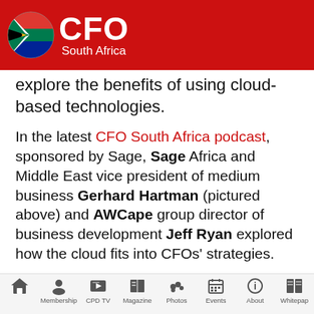CFO South Africa
explore the benefits of using cloud-based technologies.
In the latest CFO South Africa podcast, sponsored by Sage, Sage Africa and Middle East vice president of medium business Gerhard Hartman (pictured above) and AWCape group director of business development Jeff Ryan explored how the cloud fits into CFOs' strategies.
In a recent study into the CFO of the future, the CFO 3.0, Sage revealed that 72 percent of large
Home | Membership | CPD TV | Magazine | Photos | Events | About | Whitepaper